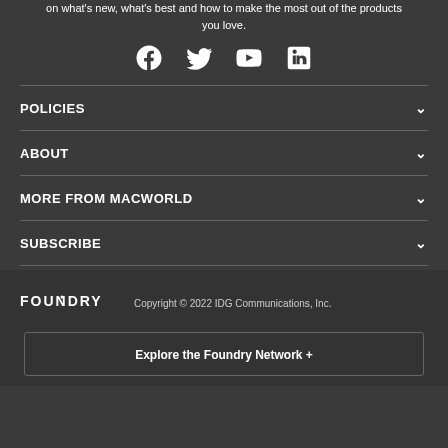on what's new, what's best and how to make the most out of the products you love.
[Figure (illustration): Social media icons: Facebook, Twitter, YouTube, LinkedIn]
POLICIES
ABOUT
MORE FROM MACWORLD
SUBSCRIBE
[Figure (logo): FOUNDRY logo]
Copyright © 2022 IDG Communications, Inc.
Explore the Foundry Network +